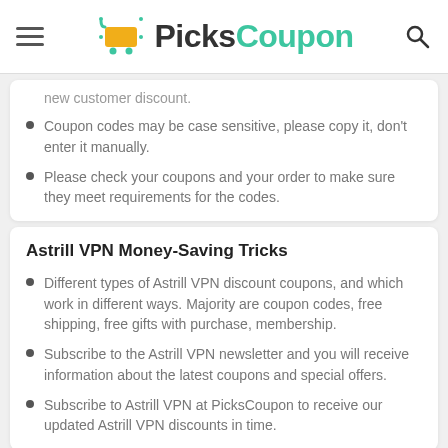PicksCoupon
new customer discount.
Coupon codes may be case sensitive, please copy it, don't enter it manually.
Please check your coupons and your order to make sure they meet requirements for the codes.
Astrill VPN Money-Saving Tricks
Different types of Astrill VPN discount coupons, and which work in different ways. Majority are coupon codes, free shipping, free gifts with purchase, membership.
Subscribe to the Astrill VPN newsletter and you will receive information about the latest coupons and special offers.
Subscribe to Astrill VPN at PicksCoupon to receive our updated Astrill VPN discounts in time.